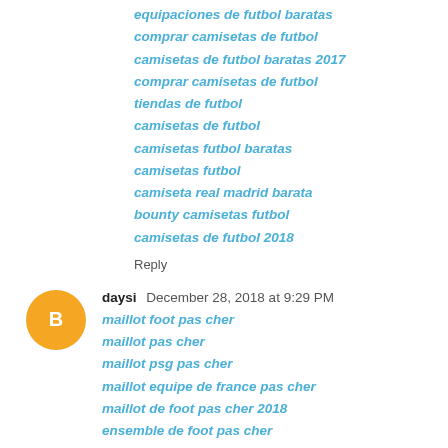equipaciones de futbol baratas
comprar camisetas de futbol
camisetas de futbol baratas 2017
comprar camisetas de futbol
tiendas de futbol
camisetas de futbol
camisetas futbol baratas
camisetas futbol
camiseta real madrid barata
bounty camisetas futbol
camisetas de futbol 2018
Reply
daysi  December 28, 2018 at 9:29 PM
maillot foot pas cher
maillot pas cher
maillot psg pas cher
maillot equipe de france pas cher
maillot de foot pas cher 2018
ensemble de foot pas cher
maillot de foot pas cher